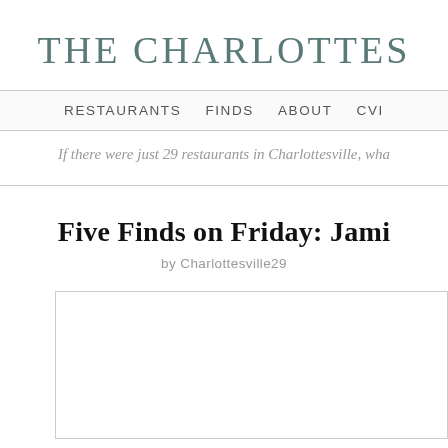THE CHARLOTTES
RESTAURANTS   FINDS   ABOUT   CVI
If there were just 29 restaurants in Charlottesville, wha
Five Finds on Friday: Jami
by Charlottesville29
[Figure (photo): White rectangle image placeholder]